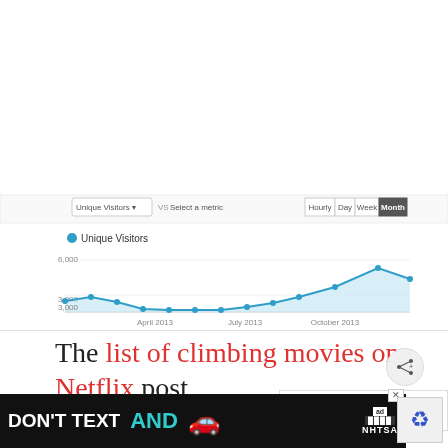[Figure (line-chart): Unique Visitors]
The list of climbing movies on Netflix post remains my biggest driver of traffic, just as it was in 2012. But I added two significant...